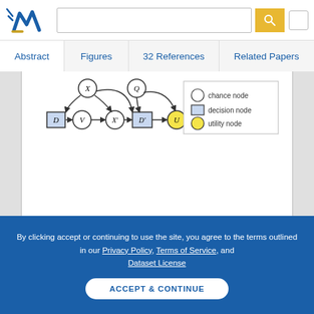[Figure (screenshot): Semantic Scholar website header with logo, search bar, and user icon]
Abstract | Figures | 32 References | Related Papers
[Figure (network-graph): Influence diagram showing nodes D, V, X', D', U (decision and utility nodes as boxes/circles) connected by arrows, with legend showing chance node (circle), decision node (square), utility node (yellow circle)]
By clicking accept or continuing to use the site, you agree to the terms outlined in our Privacy Policy, Terms of Service, and Dataset License
ACCEPT & CONTINUE